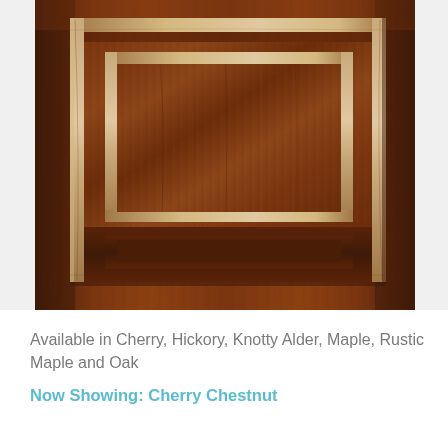[Figure (photo): Close-up photograph of a raised-panel cabinet door with rich cherry chestnut wood finish, showing dark brown wood grain with lighter tan/beige raised molding details around the frame and panel inset]
Available in Cherry, Hickory, Knotty Alder, Maple, Rustic Maple and Oak
Now Showing: Cherry Chestnut